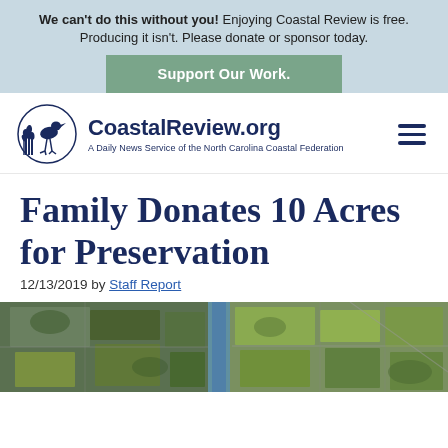We can't do this without you! Enjoying Coastal Review is free. Producing it isn't. Please donate or sponsor today.
[Figure (other): Support Our Work button on light blue banner background]
[Figure (logo): CoastalReview.org logo — bird and marsh illustration with site name and tagline: A Daily News Service of the North Carolina Coastal Federation]
Family Donates 10 Acres for Preservation
12/13/2019 by Staff Report
[Figure (photo): Aerial satellite photograph of land parcels near a waterway, showing fields and forested areas split by a canal or river.]